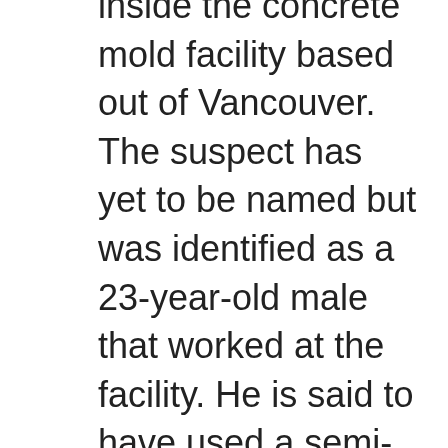inside the concrete mold facility based out of Vancouver. The suspect has yet to be named but was identified as a 23-year-old male that worked at the facility. He is said to have used a semi-automatic handgun and fled the scene following the shooting. He was quickly apprehended after exchanging gunfire with a state trooper. The trooper and the shooting suspect were injured in the shootout. Police have confirmed that three employees were killed and three